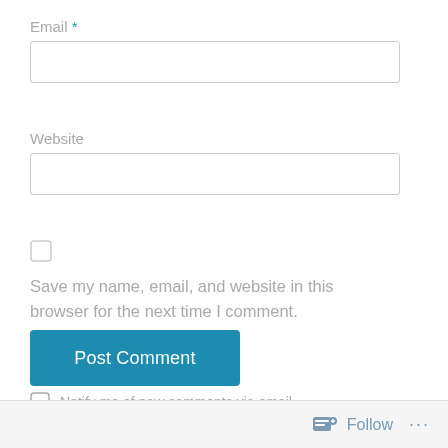Email *
[Figure (other): Email input text field (empty, with border)]
Website
[Figure (other): Website input text field (empty, with border)]
[Figure (other): Checkbox (unchecked)]
Save my name, email, and website in this browser for the next time I comment.
[Figure (other): Post Comment button (blue)]
Notify me of new comments via email.
Follow ...